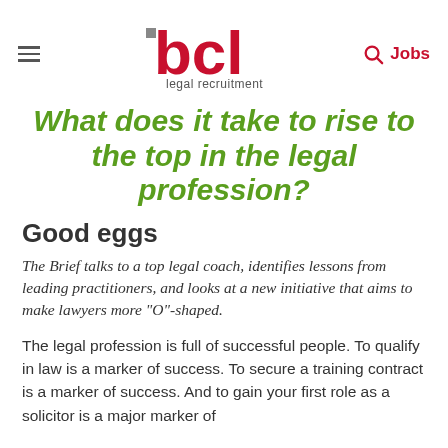[Figure (logo): BCL Legal Recruitment logo — stylized red/crimson 'bcl' letters with small grey square accent, 'legal recruitment' text below in grey]
What does it take to rise to the top in the legal profession?
Good eggs
The Brief talks to a top legal coach, identifies lessons from leading practitioners, and looks at a new initiative that aims to make lawyers more "O"-shaped.
The legal profession is full of successful people. To qualify in law is a marker of success. To secure a training contract is a marker of success. And to gain your first role as a solicitor is a major marker of